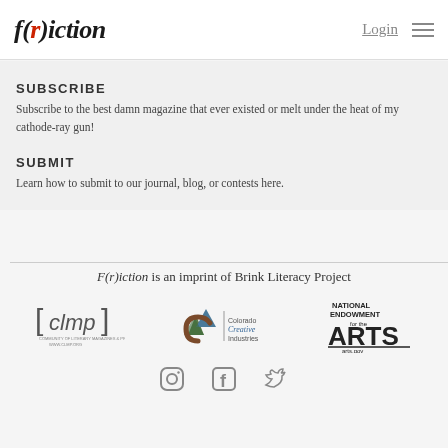f(r)iction  Login ≡
SUBSCRIBE
Subscribe to the best damn magazine that ever existed or melt under the heat of my cathode-ray gun!
SUBMIT
Learn how to submit to our journal, blog, or contests here.
F(r)iction is an imprint of Brink Literacy Project
[Figure (logo): CLMP Community of Literary Magazines & Presses logo]
[Figure (logo): Colorado Creative Industries logo]
[Figure (logo): National Endowment for the Arts logo]
[Figure (logo): Social media icons: Instagram, Facebook, Twitter]